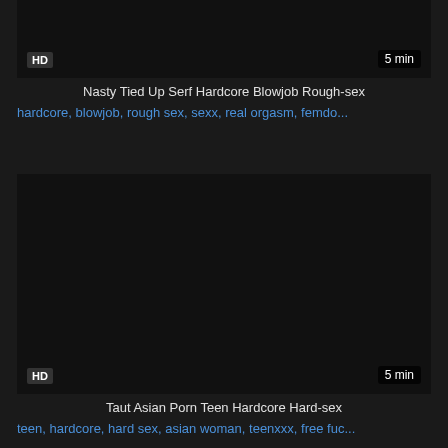[Figure (screenshot): Video thumbnail 1 - dark background with HD badge and 5 min duration label]
Nasty Tied Up Serf Hardcore Blowjob Rough-sex
hardcore, blowjob, rough sex, sexx, real orgasm, femdo...
[Figure (screenshot): Video thumbnail 2 - dark background with HD badge and 5 min duration label]
Taut Asian Porn Teen Hardcore Hard-sex
teen, hardcore, hard sex, asian woman, teenxxx, free fuc...